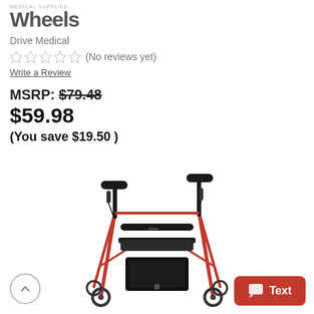MEDICAL SUPPLIES
Wheels
Drive Medical
☆☆☆☆☆ (No reviews yet)
Write a Review
MSRP: $79.48
$59.98
(You save $19.50 )
[Figure (photo): Drive Medical rollator walker with red frame, black padded seat, black handles and hand brakes, four wheels, and a storage pouch underneath the seat.]
Text